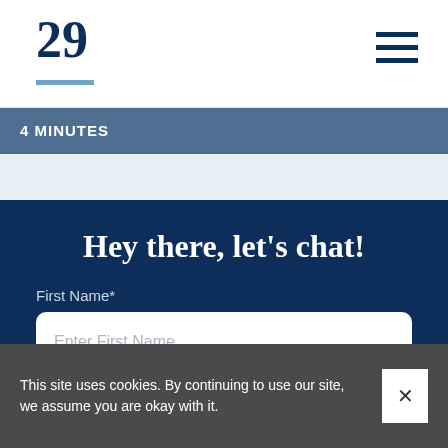29
4 MINUTES
Hey there, let's chat!
First Name*
Enter First Name
Last Name*
This site uses cookies. By continuing to use our site, we assume you are okay with it.